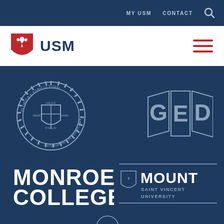MY USM   CONTACT
[Figure (logo): USM logo with red shield and bird icon, text USM]
[Figure (logo): Florida Agricultural and Mechanical University seal]
[Figure (logo): GED logo with block letters G E D on folded panels]
[Figure (logo): Monroe College logo in bold white text]
[Figure (logo): Mount Saint Vincent University logo with shield]